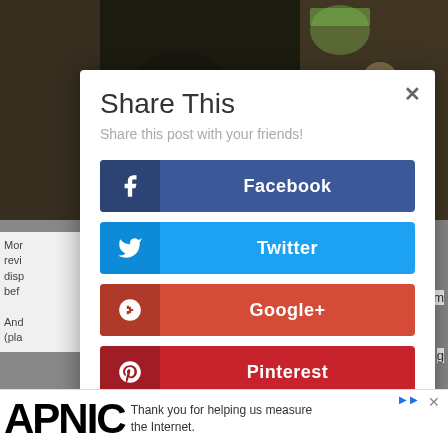[Figure (screenshot): Background showing a dark photo of a person in a restaurant/bar setting, partially obscured by a modal dialog]
Share This
Share this post with your friends!
Facebook
Twitter
Google+
Pinterest
reddit
Thank you for helping us measure the Internet.